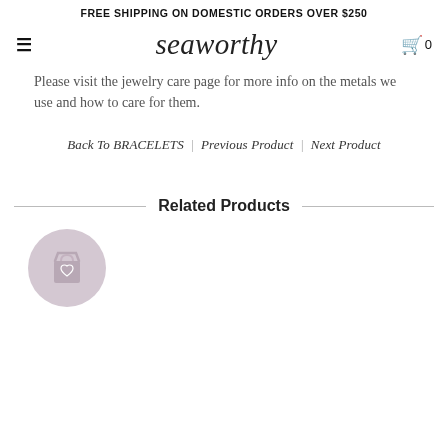FREE SHIPPING ON DOMESTIC ORDERS OVER $250
seaworthy
Please visit the jewelry care page for more info on the metals we use and how to care for them.
Back To BRACELETS | Previous Product | Next Product
Related Products
[Figure (illustration): Shopping bag with heart icon in a gray circle, representing a product placeholder or wishlist button]